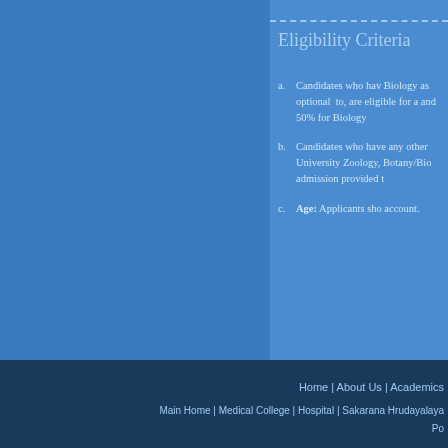Eligibility Criteria
Candidates who have Biology as optional to, are eligible for admission and 50% for Biology
Candidates who have any other University Zoology, Botany/Bio admission provided t
Age: Applicants sho account.
Home | About Us | Academics
Main Home  |  Medical College  |  Hospital  |  Sakarana Hrudayalaya
Po